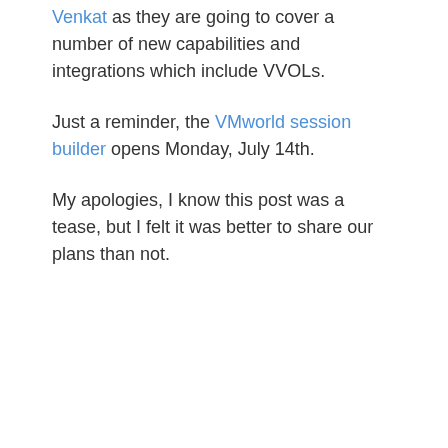Venkat as they are going to cover a number of new capabilities and integrations which include VVOLs.
Just a reminder, the VMworld session builder opens Monday, July 14th.
My apologies, I know this post was a tease, but I felt it was better to share our plans than not.